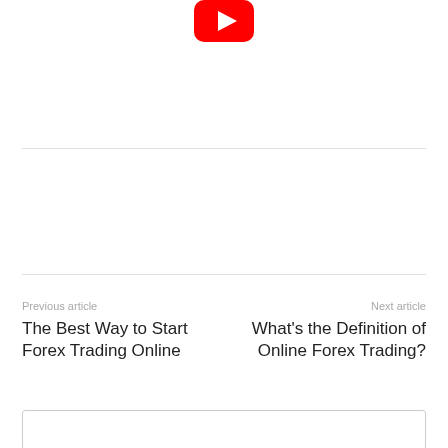[Figure (logo): YouTube logo — red rounded rectangle with white play triangle]
Previous article
The Best Way to Start Forex Trading Online
Next article
What's the Definition of Online Forex Trading?